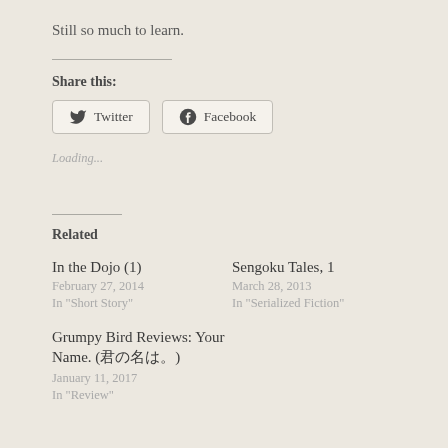Still so much to learn.
Share this:
Twitter   Facebook
Loading...
Related
In the Dojo (1)
February 27, 2014
In "Short Story"
Sengoku Tales, 1
March 28, 2013
In "Serialized Fiction"
Grumpy Bird Reviews: Your Name. (君の名は。)
January 11, 2017
In "Review"